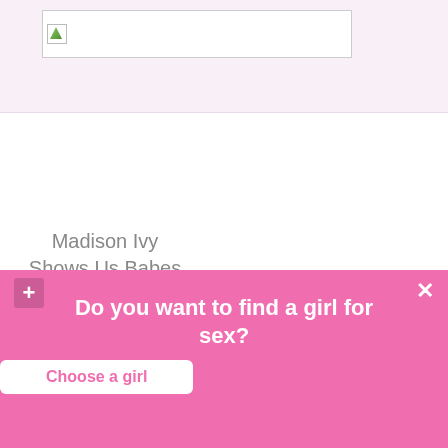[Figure (screenshot): Top banner with broken image placeholder and white bar on light pink background]
Madison Ivy Shows Us Babes And Pornsta
[Figure (photo): Four women in swimwear sitting on a white car outdoors]
Kirsten Price
Madison Ivy
Monique
Alexander And
Do you want to find a girl for sex?
Choose a girl